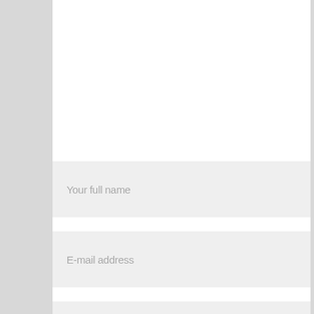[Figure (screenshot): A white textarea/comment input box (light gray background, empty)]
Your full name
E-mail address
Website
Save my name, email, and website in this browser for the next time I comment.
SUBMIT